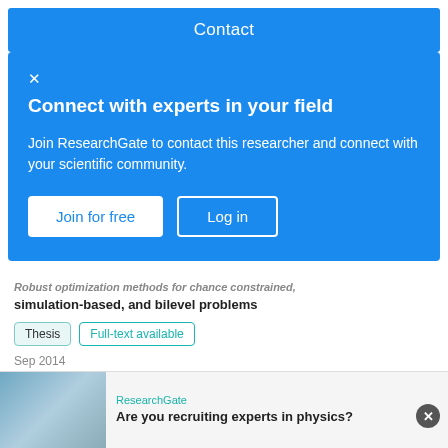Contact
Connect with experts in your field
Join ResearchGate to contact this researcher and connect with your scientific community.
Join for free
Log in
Robust optimization methods for chance constrained, simulation-based, and bilevel problems
Thesis  Full-text available
Sep 2014
İhsan Yanıkoğlu
View
Advertisement
ResearchGate
Are you recruiting experts in physics?